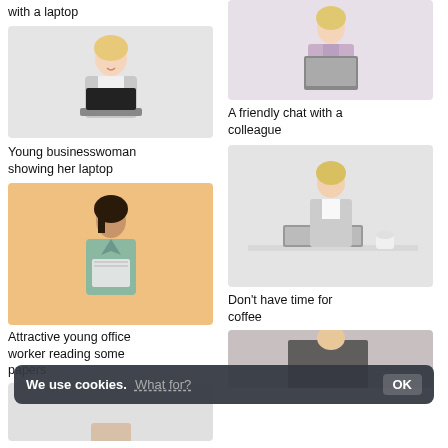with a laptop
[Figure (photo): Young blonde woman in grey jacket holding a laptop with black screen, white/grey background]
A friendly chat with a colleague
[Figure (photo): Blonde woman in lavender/lilac suit holding a laptop, light grey background]
Young businesswoman showing her laptop
[Figure (photo): Businesswoman in teal/sage green suit holding papers/folder, orange background]
Don't have time for coffee
[Figure (photo): Blonde woman in grey suit sitting at white desk with laptop and coffee cup]
Attractive young office worker reading some papers
[Figure (photo): Partial photo bottom left, light grey background]
[Figure (photo): Partial photo bottom right, dark background with papers]
We use cookies. What for? OK